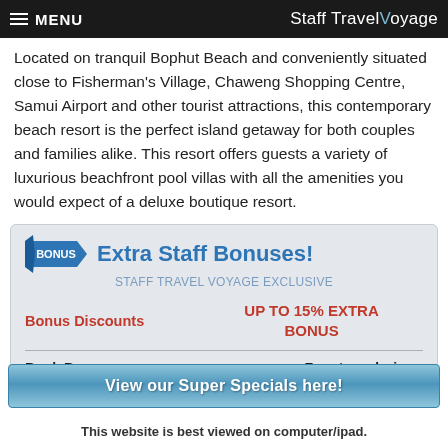MENU | Staff Travel Voyage
Located on tranquil Bophut Beach and conveniently situated close to Fisherman's Village, Chaweng Shopping Centre, Samui Airport and other tourist attractions, this contemporary beach resort is the perfect island getaway for both couples and families alike. This resort offers guests a variety of luxurious beachfront pool villas with all the amenities you would expect of a deluxe boutique resort.
Extra Staff Bonuses!
Bonus Discounts | UP TO 15% EXTRA BONUS
| Book By | Extra Bonuses | For stays during |
| --- | --- | --- |
View our Super Specials here!
This website is best viewed on computer/ipad.